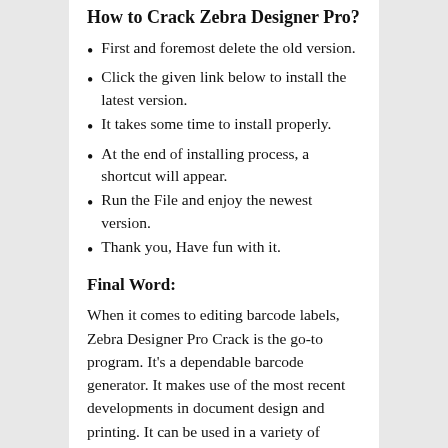How to Crack Zebra Designer Pro?
First and foremost delete the old version.
Click the given link below to install the latest version.
It takes some time to install properly.
At the end of installing process, a shortcut will appear.
Run the File and enjoy the newest version.
Thank you, Have fun with it.
Final Word:
When it comes to editing barcode labels, Zebra Designer Pro Crack is the go-to program. It’s a dependable barcode generator. It makes use of the most recent developments in document design and printing. It can be used in a variety of languages. When a customer selects Zebra